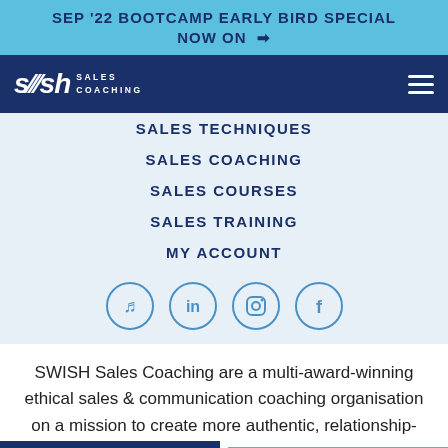SEP '22 BOOTCAMP EARLY BIRD SPECIAL NOW ON →
[Figure (logo): SWISH Sales Coaching logo with hamburger menu on dark blue navbar]
SALES TECHNIQUES
SALES COACHING
SALES COURSES
SALES TRAINING
MY ACCOUNT
[Figure (infographic): Four social media icons in circles: Spotify, LinkedIn, Instagram, Facebook]
SWISH Sales Coaching are a multi-award-winning ethical sales & communication coaching organisation on a mission to create more authentic, relationship-
WORK OUT YOU
WITH OUR
Chat now - We are Online